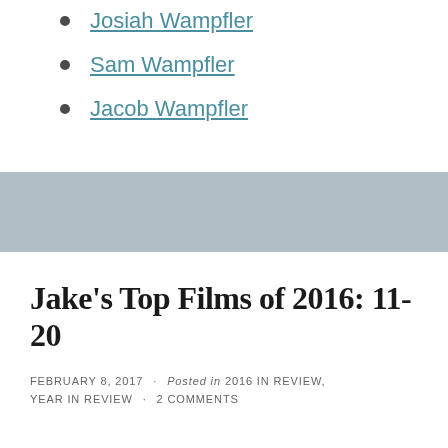Josiah Wampfler
Sam Wampfler
Jacob Wampfler
[Figure (other): Gray horizontal band separator]
Jake's Top Films of 2016: 11-20
FEBRUARY 8, 2017 · Posted in 2016 IN REVIEW, YEAR IN REVIEW · 2 COMMENTS